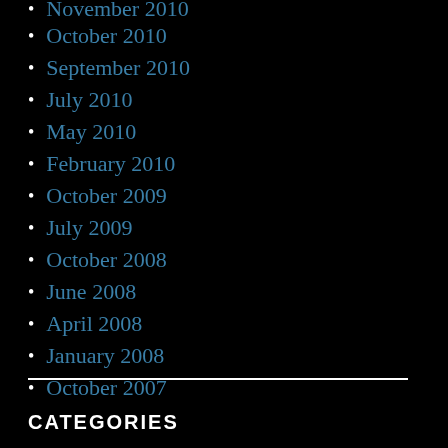November 2010
October 2010
September 2010
July 2010
May 2010
February 2010
October 2009
July 2009
October 2008
June 2008
April 2008
January 2008
October 2007
CATEGORIES